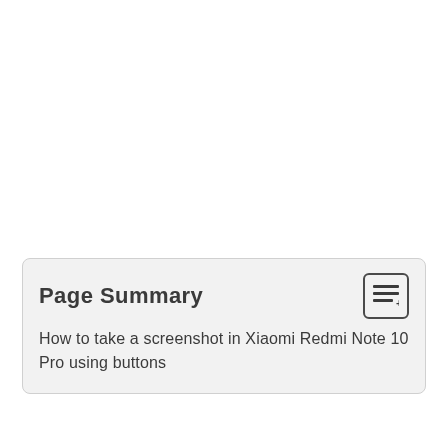Page Summary
How to take a screenshot in Xiaomi Redmi Note 10 Pro using buttons